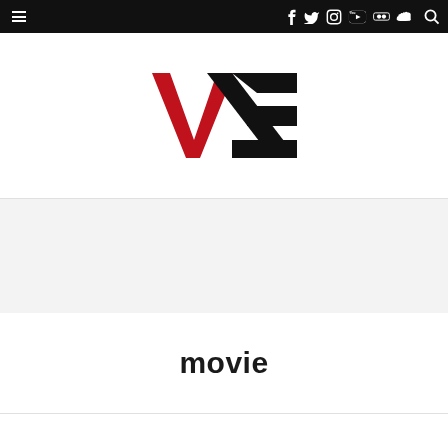Navigation bar with hamburger menu and social media icons (Facebook, Twitter, Instagram, YouTube, Flickr, SoundCloud, Search)
[Figure (logo): VIS logo: stylized letters V and S in red and black on white background]
[Figure (other): Gray banner/advertisement placeholder area]
movie